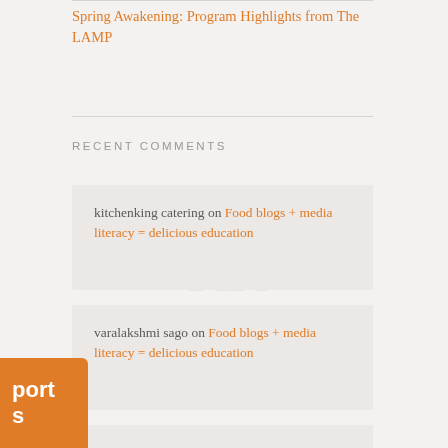Spring Awakening: Program Highlights from The LAMP
RECENT COMMENTS
kitchenking catering on Food blogs + media literacy = delicious education
varalakshmi sago on Food blogs + media literacy = delicious education
CaliOkie on Between the Lines: How Politicians Use Color Psychology to Win Your Votes